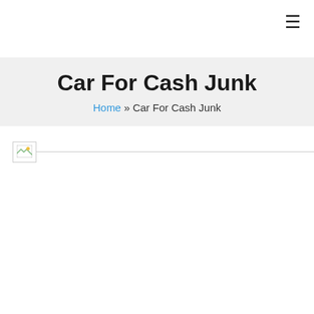≡
Car For Cash Junk
Home » Car For Cash Junk
[Figure (other): Broken image placeholder with small icon in top-left corner, bordered box]